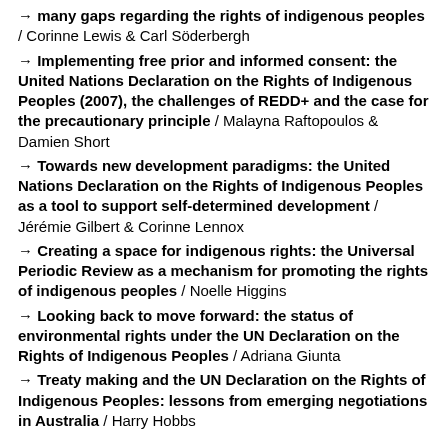→ many gaps regarding the rights of indigenous peoples / Corinne Lewis & Carl Söderbergh
→ Implementing free prior and informed consent: the United Nations Declaration on the Rights of Indigenous Peoples (2007), the challenges of REDD+ and the case for the precautionary principle / Malayna Raftopoulos & Damien Short
→ Towards new development paradigms: the United Nations Declaration on the Rights of Indigenous Peoples as a tool to support self-determined development / Jérémie Gilbert & Corinne Lennox
→ Creating a space for indigenous rights: the Universal Periodic Review as a mechanism for promoting the rights of indigenous peoples / Noelle Higgins
→ Looking back to move forward: the status of environmental rights under the UN Declaration on the Rights of Indigenous Peoples / Adriana Giunta
→ Treaty making and the UN Declaration on the Rights of Indigenous Peoples: lessons from emerging negotiations in Australia / Harry Hobbs